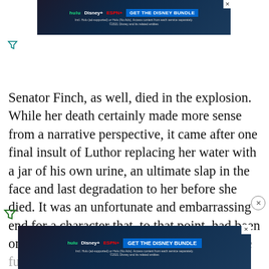[Figure (other): Disney Bundle advertisement banner at top showing Hulu, Disney+, ESPN+ logos with 'GET THE DISNEY BUNDLE' call to action on dark blue background]
Senator Finch, as well, died in the explosion. While her death certainly made more sense from a narrative perspective, it came after one final insult of Luthor replacing her water with a jar of his own urine, an ultimate slap in the face and last degradation to her before she died. It was an unfortunate and embarrassing end for a character that, to that point, had been one of the few women to hold her own and be fully formed on sc... bow to the...
[Figure (other): Disney Bundle advertisement banner at bottom showing Hulu, Disney+, ESPN+ logos with 'GET THE DISNEY BUNDLE' call to action on dark blue background]